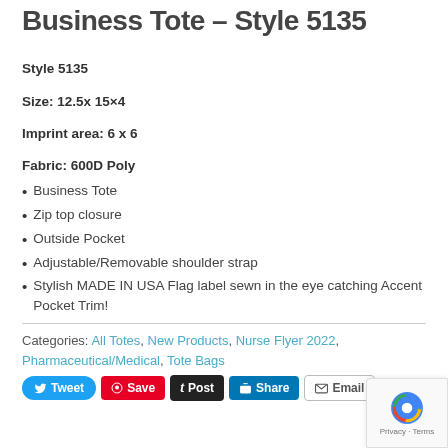Business Tote – Style 5135
Style 5135
Size: 12.5x 15×4
Imprint area: 6 x 6
Fabric: 600D Poly
Business Tote
Zip top closure
Outside Pocket
Adjustable/Removable shoulder strap
Stylish MADE IN USA Flag label sewn in the eye catching Accent Pocket Trim!
Categories: All Totes, New Products, Nurse Flyer 2022, Pharmaceutical/Medical, Tote Bags